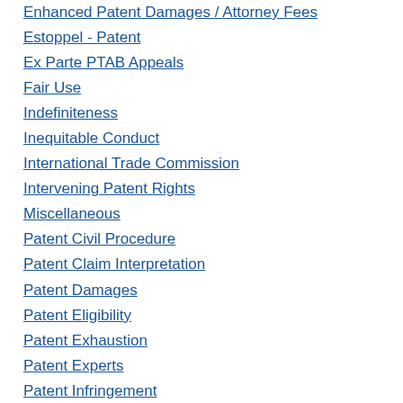Enhanced Patent Damages / Attorney Fees
Estoppel - Patent
Ex Parte PTAB Appeals
Fair Use
Indefiniteness
Inequitable Conduct
International Trade Commission
Intervening Patent Rights
Miscellaneous
Patent Civil Procedure
Patent Claim Interpretation
Patent Damages
Patent Eligibility
Patent Exhaustion
Patent Experts
Patent Infringement